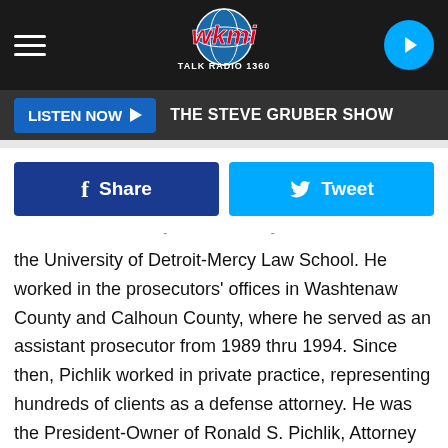WKMI Talk Radio 1360 - The Steve Gruber Show
[Figure (logo): WKMI Talk Radio 1360 logo with globe, red stylized text on dark background]
LISTEN NOW ▶  THE STEVE GRUBER SHOW
Share  Tweet
the University of Detroit-Mercy Law School. He worked in the prosecutors' offices in Washtenaw County and Calhoun County, where he served as an assistant prosecutor from 1989 thru 1994. Since then, Pichlik worked in private practice, representing hundreds of clients as a defense attorney. He was the President-Owner of Ronald S. Pichlik, Attorney at Law, P.C.
One friend, Alma Thurmer, posted "This is the last post my friend Ron Pichlik sent to me a few days before he passed from this earth. What a great last message. I will miss Ron